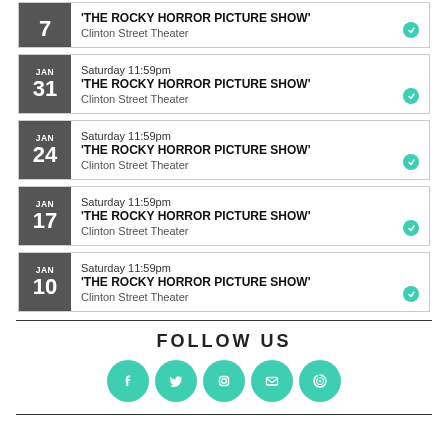7 - 'THE ROCKY HORROR PICTURE SHOW' - Clinton Street Theater
JAN 31 - Saturday 11:59pm - 'THE ROCKY HORROR PICTURE SHOW' - Clinton Street Theater
JAN 24 - Saturday 11:59pm - 'THE ROCKY HORROR PICTURE SHOW' - Clinton Street Theater
JAN 17 - Saturday 11:59pm - 'THE ROCKY HORROR PICTURE SHOW' - Clinton Street Theater
JAN 10 - Saturday 11:59pm - 'THE ROCKY HORROR PICTURE SHOW' - Clinton Street Theater
FOLLOW US
[Figure (infographic): Social media icons: Facebook, Twitter, Instagram, Email, and a spiral/vortex icon, all in teal circles]